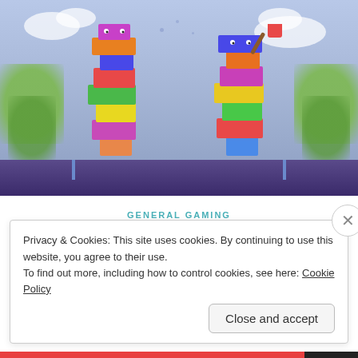[Figure (screenshot): Game screenshot showing two pixelated tree/tower characters on a purple platform with a light blue sky background with clouds and green foliage]
GENERAL GAMING
Return of Dragon's Tea Party and the PS+ Challenge
March 24, 2020 · The Dragon's Tea Party · 8 Comments
Privacy & Cookies: This site uses cookies. By continuing to use this website, you agree to their use.
To find out more, including how to control cookies, see here: Cookie Policy
Close and accept